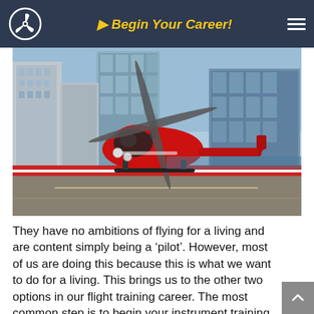Begin Your Career!
[Figure (photo): A red helicopter parked on a helipad in front of tall city skyscrapers on a sunny day.]
They have no ambitions of flying for a living and are content simply being a ‘pilot’. However, most of us are doing this because this is what we want to do for a living. This brings us to the other two options in our flight training career. The most common step is to begin your instrument training.